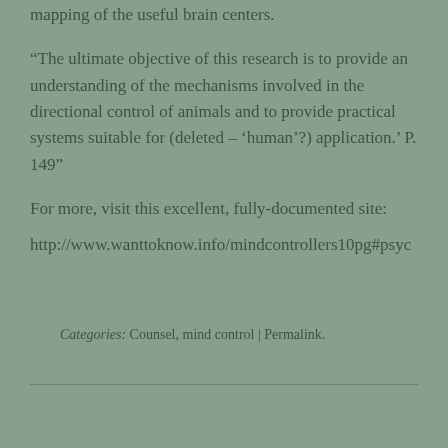mapping of the useful brain centers.
“The ultimate objective of this research is to provide an understanding of the mechanisms involved in the directional control of animals and to provide practical systems suitable for (deleted – ‘human’?) application.’ P. 149”
For more, visit this excellent, fully-documented site:
http://www.wanttoknow.info/mindcontrollers10pg#psyc
Categories: Counsel, mind control | Permalink.